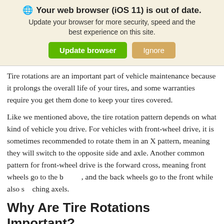🌐 Your web browser (iOS 11) is out of date. Update your browser for more security, speed and the best experience on this site.
Tire rotations are an important part of vehicle maintenance because it prolongs the overall life of your tires, and some warranties require you get them done to keep your tires covered.
Like we mentioned above, the tire rotation pattern depends on what kind of vehicle you drive. For vehicles with front-wheel drive, it is sometimes recommended to rotate them in an X pattern, meaning they will switch to the opposite side and axle. Another common pattern for front-wheel drive is the forward cross, meaning front wheels go to the back, and the back wheels go to the front while also switching axels.
Why Are Tire Rotations Important?
One of the main reasons why tire rotations are a necessity